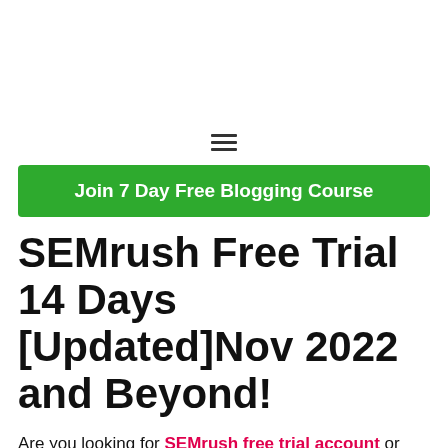[Figure (other): Hamburger menu icon (three horizontal lines)]
Join 7 Day Free Blogging Course
SEMrush Free Trial 14 Days [Updated]Nov 2022 and Beyond!
Are you looking for SEMrush free trial account or SEMrush Coupon Code?
Great decision 🙂.